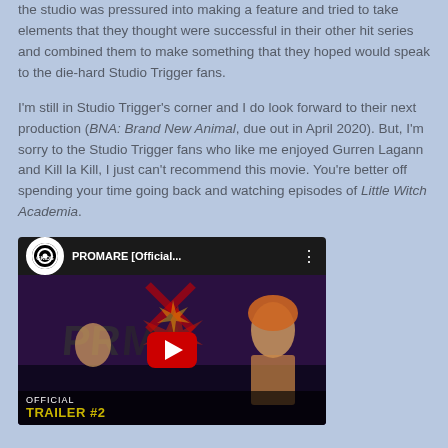the studio was pressured into making a feature and tried to take elements that they thought were successful in their other hit series and combined them to make something that they hoped would speak to the die-hard Studio Trigger fans.
I'm still in Studio Trigger's corner and I do look forward to their next production (BNA: Brand New Animal, due out in April 2020). But, I'm sorry to the Studio Trigger fans who like me enjoyed Gurren Lagann and Kill la Kill, I just can't recommend this movie. You're better off spending your time going back and watching episodes of Little Witch Academia.
[Figure (screenshot): YouTube video thumbnail for PROMARE Official Trailer #2 by GKIDS, showing anime characters and a red play button overlay]